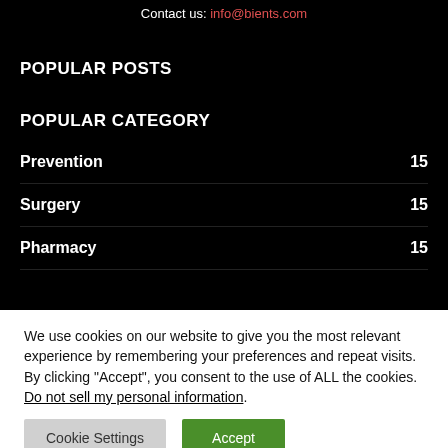Contact us: info@bients.com
POPULAR POSTS
POPULAR CATEGORY
Prevention 15
Surgery 15
Pharmacy 15
We use cookies on our website to give you the most relevant experience by remembering your preferences and repeat visits. By clicking “Accept”, you consent to the use of ALL the cookies. Do not sell my personal information.
Cookie Settings | Accept